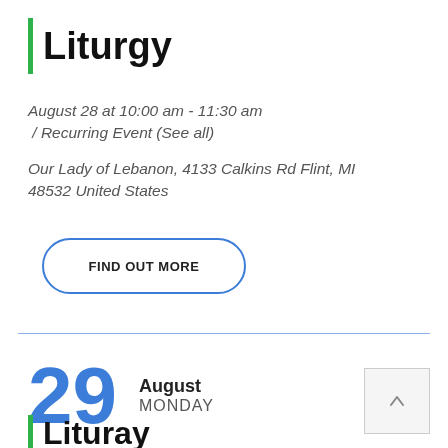Liturgy
August 28 at 10:00 am - 11:30 am / Recurring Event (See all)
Our Lady of Lebanon, 4133 Calkins Rd Flint, MI 48532 United States
FIND OUT MORE
29 August MONDAY
Lituray